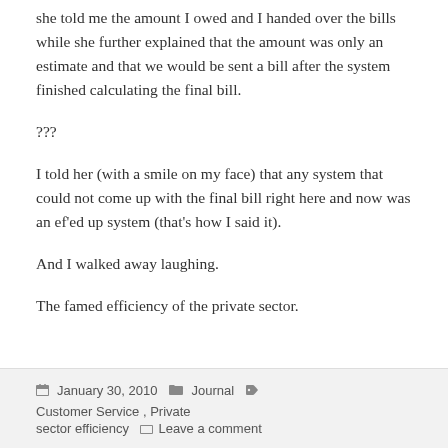she told me the amount I owed and I handed over the bills while she further explained that the amount was only an estimate and that we would be sent a bill after the system finished calculating the final bill.
???
I told her (with a smile on my face) that any system that could not come up with the final bill right here and now was an ef'ed up system (that's how I said it).
And I walked away laughing.
The famed efficiency of the private sector.
January 30, 2010   Journal   Customer Service, Private sector efficiency   Leave a comment